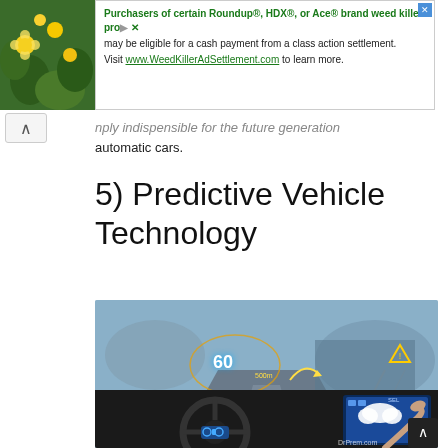[Figure (photo): Yellow flowers and green foliage background image in top-left corner]
[Figure (infographic): Advertisement banner: Purchasers of certain Roundup®, HDX®, or Ace® brand weed killer products may be eligible for a cash payment from a class action settlement. Visit www.WeedKillerAdSettlement.com to learn more.]
nply indispensible for the future generation automatic cars.
5) Predictive Vehicle Technology
[Figure (photo): Interior of a futuristic autonomous vehicle showing steering wheel with digital displays, heads-up display showing speed 60 and 500m, blue navigation screen on dashboard. DrPrem.com watermark visible.]